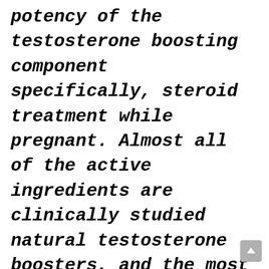potency of the testosterone boosting component specifically, steroid treatment while pregnant. Almost all of the active ingredients are clinically studied natural testosterone boosters, and the most important ingredient is also standardized to maximum potency. The ingredient